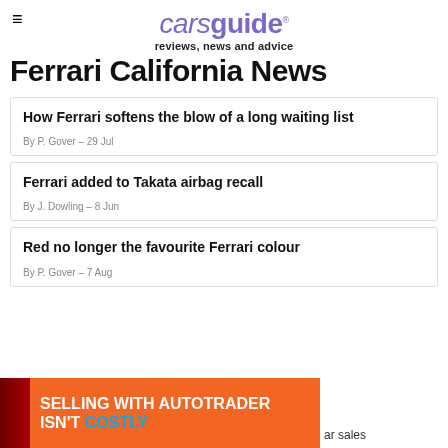carsguide reviews, news and advice
Ferrari California News
How Ferrari softens the blow of a long waiting list
By P. Gover – 29 Jul
Ferrari added to Takata airbag recall
By J. Dowling – 8 Jun
Red no longer the favourite Ferrari colour
By P. Gover – 7 Aug
[Figure (infographic): Advertisement banner: SELLING WITH AUTOTRADER ISN'T COSTLY with orange background and blue accent text, with partial car image on left and partial text 'ar sales' on right]